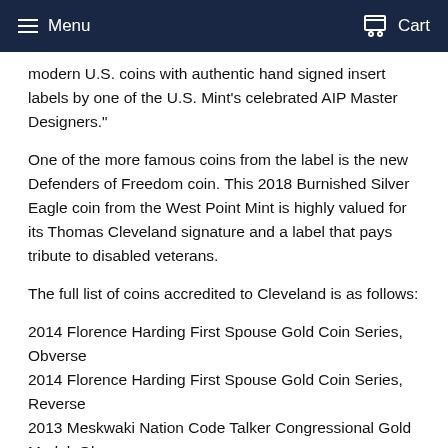Menu  Cart
modern U.S. coins with authentic hand signed insert labels by one of the U.S. Mint's celebrated AIP Master Designers."
One of the more famous coins from the label is the new Defenders of Freedom coin. This 2018 Burnished Silver Eagle coin from the West Point Mint is highly valued for its Thomas Cleveland signature and a label that pays tribute to disabled veterans.
The full list of coins accredited to Cleveland is as follows:
2014 Florence Harding First Spouse Gold Coin Series, Obverse
2014 Florence Harding First Spouse Gold Coin Series, Reverse
2013 Meskwaki Nation Code Talker Congressional Gold Medal, Obverse
2013 Choctaw Nation Code Talker Congressional Gold Medal, Obverse
2013 Crow Creek Sioux Code Talker Congressional Gold Medal, Obverse